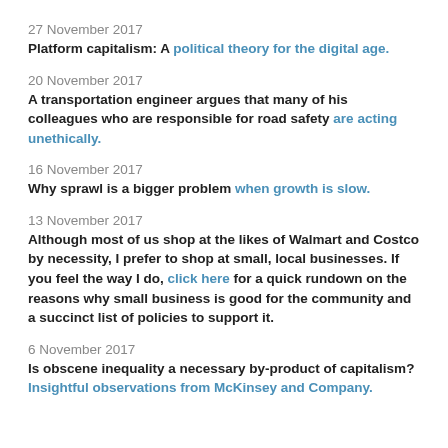27 November 2017
Platform capitalism: A political theory for the digital age.
20 November 2017
A transportation engineer argues that many of his colleagues who are responsible for road safety are acting unethically.
16 November 2017
Why sprawl is a bigger problem when growth is slow.
13 November 2017
Although most of us shop at the likes of Walmart and Costco by necessity, I prefer to shop at small, local businesses. If you feel the way I do, click here for a quick rundown on the reasons why small business is good for the community and a succinct list of policies to support it.
6 November 2017
Is obscene inequality a necessary by-product of capitalism? Insightful observations from McKinsey and Company.